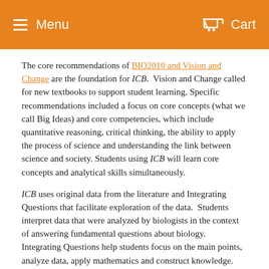Menu   Cart
The core recommendations of BIO2010 and Vision and Change are the foundation for ICB. Vision and Change called for new textbooks to support student learning. Specific recommendations included a focus on core concepts (what we call Big Ideas) and core competencies, which include quantitative reasoning, critical thinking, the ability to apply the process of science and understanding the link between science and society. Students using ICB will learn core concepts and analytical skills simultaneously.
ICB uses original data from the literature and Integrating Questions that facilitate exploration of the data. Students interpret data that were analyzed by biologists in the context of answering fundamental questions about biology. Integrating Questions help students focus on the main points, analyze data, apply mathematics and construct knowledge.